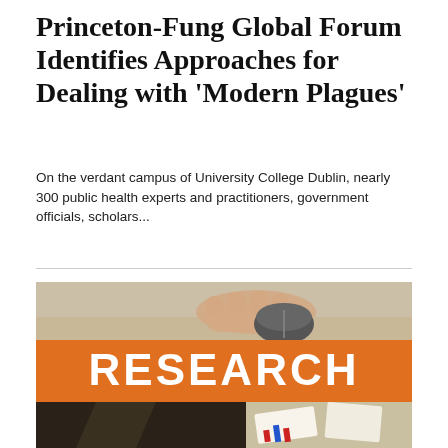Princeton-Fung Global Forum Identifies Approaches for Dealing with 'Modern Plagues'
On the verdant campus of University College Dublin, nearly 300 public health experts and practitioners, government officials, scholars...
[Figure (photo): Composite image showing a hand on a computer mouse at top, an orange banner reading RESEARCH in the middle, and a dark suit jacket with papers at the bottom]